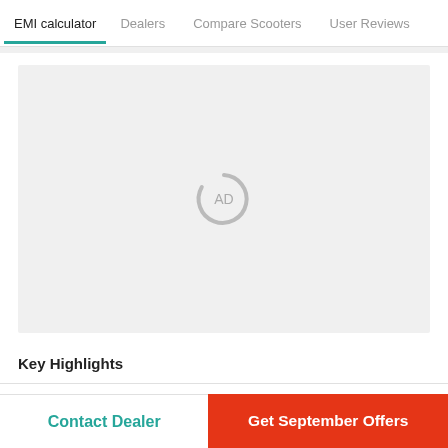EMI calculator | Dealers | Compare Scooters | User Reviews
[Figure (other): Advertisement placeholder with spinning loader icon and 'AD' text in center on light gray background]
Key Highlights
Contact Dealer
Get September Offers